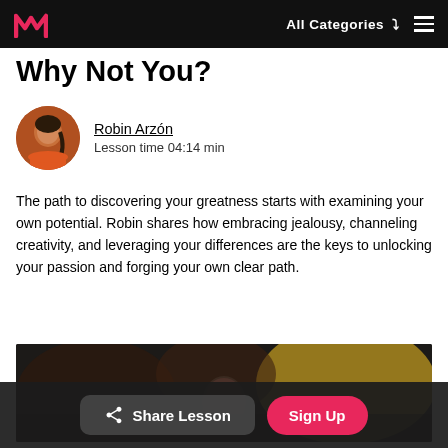All Categories ≡
Why Not You?
Robin Arzón
Lesson time 04:14 min
The path to discovering your greatness starts with examining your own potential. Robin shares how embracing jealousy, channeling creativity, and leveraging your differences are the keys to unlocking your passion and forging your own clear path.
[Figure (photo): Thumbnail showing blurred portrait of person against yellow/dark background]
Share Lesson
Sign Up